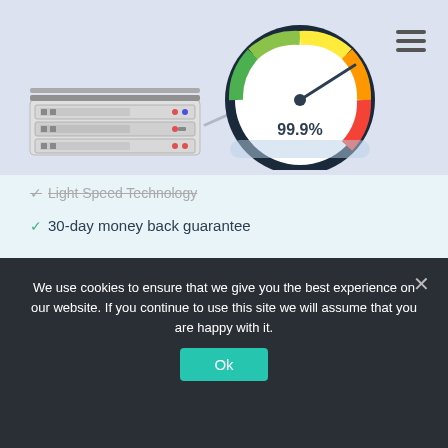[Figure (illustration): Header banner with server rack illustration on the left and a speedometer gauge showing 99.9% on the right, on a light blue-grey background. Hamburger menu icon in the top right corner.]
Light Speed Technology
30-day money back guarantee
Visit Site
Details
[Figure (logo): Hostripples logo: white bold italic text on dark purple/indigo background]
We use cookies to ensure that we give you the best experience on our website. If you continue to use this site we will assume that you are happy with it.
Ok